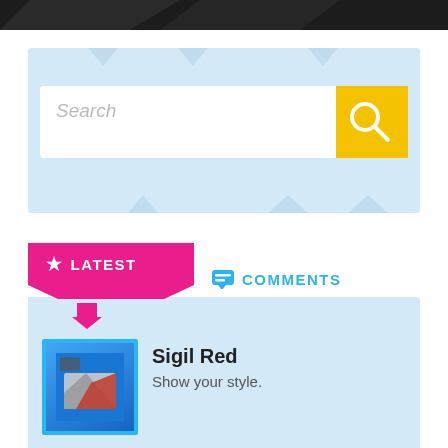[Figure (screenshot): Top dark diagonal banner]
[Figure (screenshot): Search bar with yellow search button, placeholder text 'Search', on light blue decorative background]
[Figure (infographic): LATEST and COMMENTS tab buttons, with pink LATEST tab active showing a downward pink arrow, followed by an item card for 'Sigil Red' with blue-bordered game item image]
Sigil Red
Show your style.